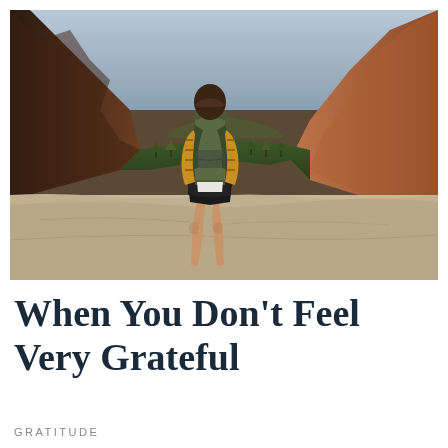[Figure (photo): A hiker (seen from behind, wearing a yellow plaid shirt, olive green backpack, and black shorts) stands on a large flat rock ledge overlooking a dramatic canyon with a winding river below and tall red rock cliffs on either side. The landscape appears to be Zion National Park.]
When You Don't Feel Very Grateful
GRATITUDE